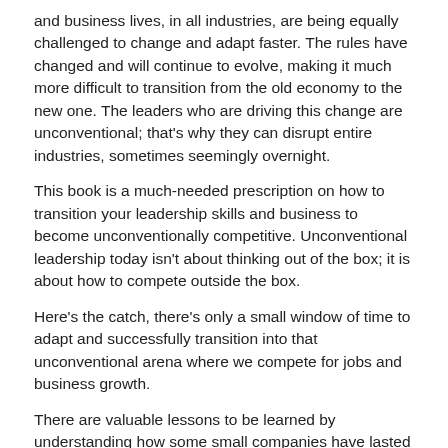and business lives, in all industries, are being equally challenged to change and adapt faster. The rules have changed and will continue to evolve, making it much more difficult to transition from the old economy to the new one. The leaders who are driving this change are unconventional; that's why they can disrupt entire industries, sometimes seemingly overnight.
This book is a much-needed prescription on how to transition your leadership skills and business to become unconventionally competitive. Unconventional leadership today isn't about thinking out of the box; it is about how to compete outside the box.
Here's the catch, there's only a small window of time to adapt and successfully transition into that unconventional arena where we compete for jobs and business growth.
There are valuable lessons to be learned by understanding how some small companies have lasted hundreds of years and a small handful for over one thousand years, through all kinds of disruptions—social, political, economic, technological, and environmental. You will learn how to build a different kind of company, through the five disciplines of growth, the reliability quotient, and the COST principles, all of which will lead you to a higher level of competitive performance and resilience to threats.